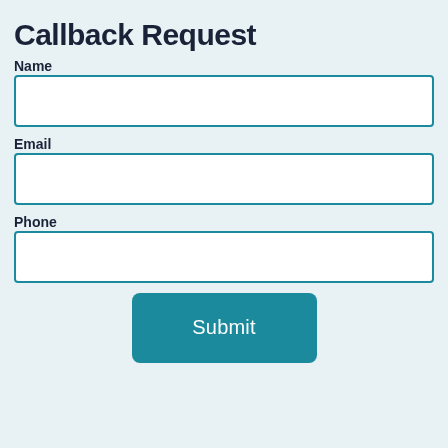Callback Request
Name
[Figure (other): Empty text input field for Name]
Email
[Figure (other): Empty text input field for Email]
Phone
[Figure (other): Empty text input field for Phone]
Submit